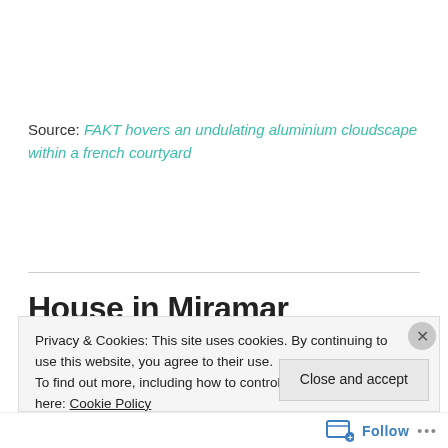Source: FAKT hovers an undulating aluminium cloudscape within a french courtyard
House in Miramar
Privacy & Cookies: This site uses cookies. By continuing to use this website, you agree to their use.
To find out more, including how to control cookies, see here: Cookie Policy
[Close and accept button]